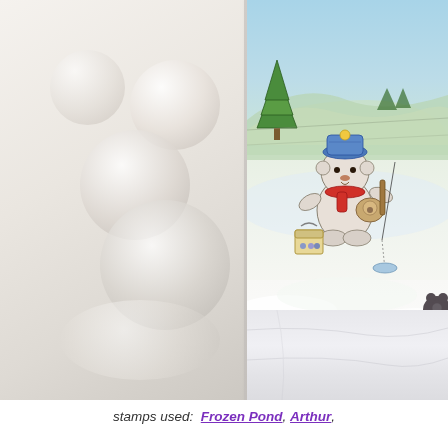[Figure (photo): A crafting/stamping photo showing a greeting card with a winter scene featuring a bear character (Arthur) ice fishing, wearing a blue hat and red scarf, with a frozen pond background (trees, hills), bait bucket, and fishing rod. The card is displayed on a marble surface with pearl bokeh in the background. A Purple Onion Designs logo watermark appears at the bottom of the image.]
stamps used:  Frozen Pond, Arthur,